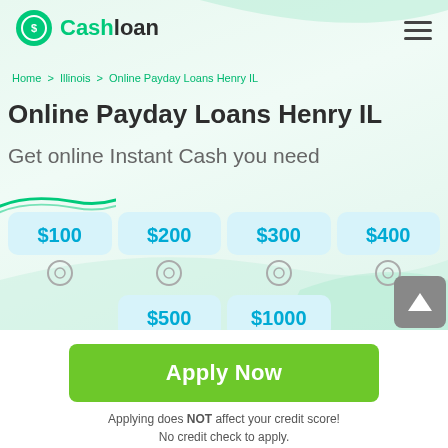Cashloan
Home > Illinois > Online Payday Loans Henry IL
Online Payday Loans Henry IL
Get online Instant Cash you need
[Figure (infographic): Loan amount selector cards showing $100, $200, $300, $400, $500, $1000 with radio buttons]
Apply Now
Applying does NOT affect your credit score!
No credit check to apply.